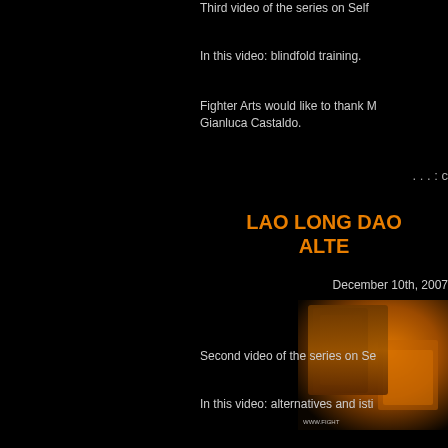Third video of the series on Self
In this video: blindfold training.
Fighter Arts would like to thank M... Gianluca Castaldo.
. . . : c
LAO LONG DAO ALTE
December 10th, 2007
[Figure (photo): Thumbnail image with orange/warm tones showing martial arts equipment or scene with website watermark]
Second video of the series on Se
In this video: alternatives and isti